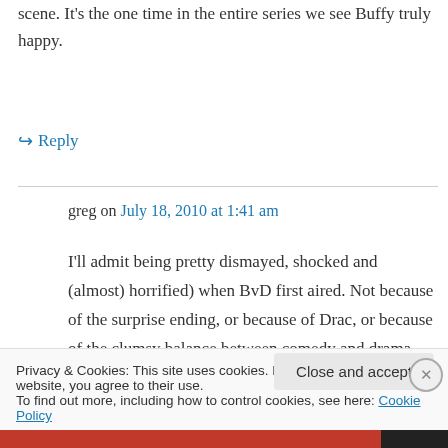scene. It's the one time in the entire series we see Buffy truly happy.
↪ Reply
greg on July 18, 2010 at 1:41 am
I'll admit being pretty dismayed, shocked and (almost) horrified) when BvD first aired. Not because of the surprise ending, or because of Drac, or because of the clumsy balance between comedy and drama, but because 96% of the
Privacy & Cookies: This site uses cookies. By continuing to use this website, you agree to their use.
To find out more, including how to control cookies, see here: Cookie Policy
Close and accept